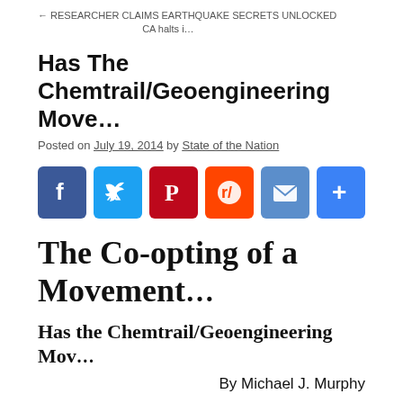← RESEARCHER CLAIMS EARTHQUAKE SECRETS UNLOCKED    CA halts i…
Has The Chemtrail/Geoengineering Move…
Posted on July 19, 2014 by State of the Nation
[Figure (infographic): Social share buttons: Facebook, Twitter, Pinterest, Reddit, Email, and a blue plus/more button]
The Co-opting of a Movement…
Has the Chemtrail/Geoengineering Mov…
By Michael J. Murphy
“Because we, as humans, have the power and ability to stop … not the geoengineers who are the greatest threat but those w… division.”